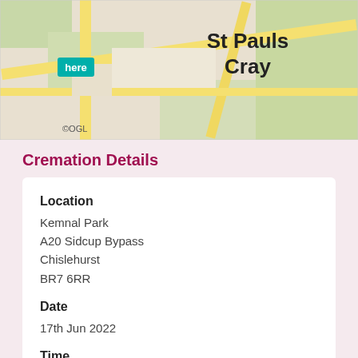[Figure (map): Partial map showing St Pauls Cray area with here maps branding and ©OGL copyright notice]
Cremation Details
| Location | Kemnal Park
A20 Sidcup Bypass
Chislehurst
BR7 6RR |
| Date | 17th Jun 2022 |
| Time | 11am |
In loving memory of George Henry Warner who